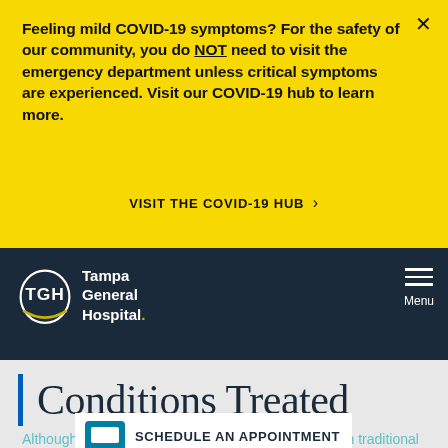Feeling mild COVID-19 symptoms? For the safety of our community, you do NOT need to visit the emergency department unless critical symptoms are experienced. Visit our COVID-19 hub to learn more.
VISIT THE COVID-19 HUB >
[Figure (logo): Tampa General Hospital TGH logo with oval swoosh mark, white text on dark navy background]
Conditions Treated
Although robots can be used when performing certain traditional open surgeries,
SCHEDULE AN APPOINTMENT